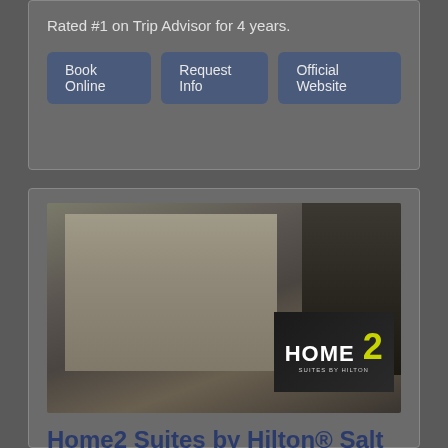Rated #1 on Trip Advisor for 4 years.
Book Online
Request Info
Official Website
[Figure (photo): Exterior photo of Home2 Suites by Hilton hotel building with sign in foreground]
Home2 Suites by Hilton® Salt Lake City/West Valley City